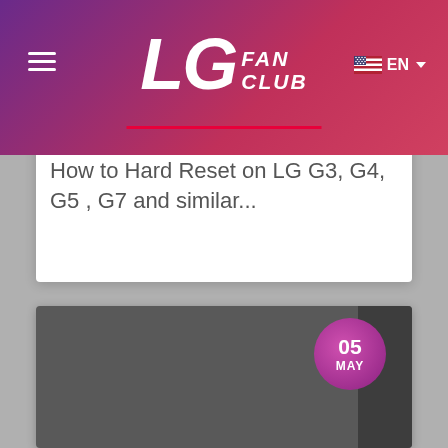LG FAN CLUB
How to Hard Reset on LG G3, G4, G5 , G7 and similar...
[Figure (screenshot): Dark gray card with date badge showing 05 MAY and a dark right sidebar panel]